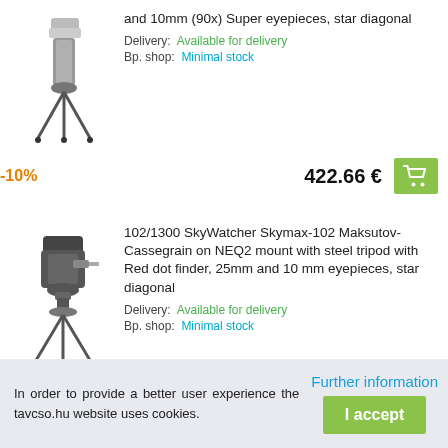and 10mm (90x) Super eyepieces, star diagonal
Delivery: Available for delivery
Bp. shop: Minimal stock
-10%    422.66 €
[Figure (illustration): Telescope on tripod - product image 1]
102/1300 SkyWatcher Skymax-102 Maksutov-Cassegrain on NEQ2 mount with steel tripod with Red dot finder, 25mm and 10 mm eyepieces, star diagonal
Delivery: Available for delivery
Bp. shop: Minimal stock
-10%    354.41 €
[Figure (illustration): Telescope on tripod - product image 2]
SkyWatcher Skymax-90 Maksutov-
In order to provide a better user experience the tavcso.hu website uses cookies.
Further information
I accept